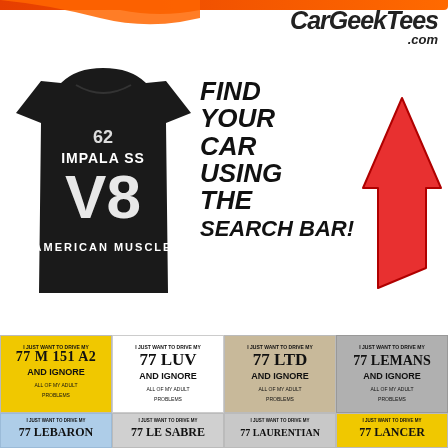[Figure (logo): CarGeekTees.com logo with orange stripe and italic bold text]
[Figure (photo): Black t-shirt with '62 IMPALA SS V8 AMERICAN MUSCLE' graphic]
FIND YOUR CAR USING THE SEARCH BAR!
[Figure (illustration): Large red arrow pointing up-right]
[Figure (photo): Grid of 8 t-shirt product thumbnails: 77 M 151 A2 (yellow), 77 LUV (white), 77 LTD (tan), 77 LEMANS (gray), 77 LEBARON (light blue), 77 LE SABRE (light gray), 77 LAURENTIAN (light gray), 77 LANCER (yellow)]